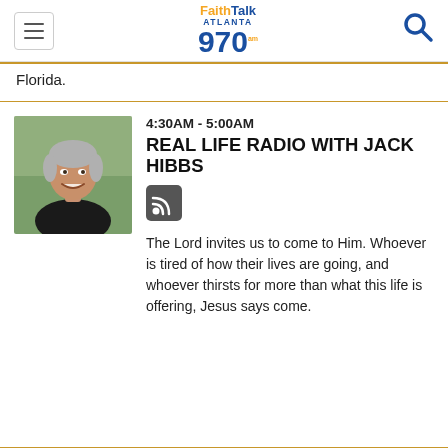FaithTalk Atlanta 970
Florida.
4:30AM - 5:00AM
REAL LIFE RADIO WITH JACK HIBBS
[Figure (other): RSS feed icon]
The Lord invites us to come to Him. Whoever is tired of how their lives are going, and whoever thirsts for more than what this life is offering, Jesus says come.